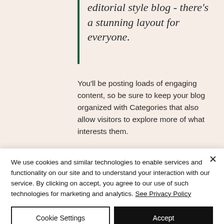editorial style blog - there's a stunning layout for everyone.
You'll be posting loads of engaging content, so be sure to keep your blog organized with Categories that also allow visitors to explore more of what interests them.
Create Relevant Content
We use cookies and similar technologies to enable services and functionality on our site and to understand your interaction with our service. By clicking on accept, you agree to our use of such technologies for marketing and analytics. See Privacy Policy